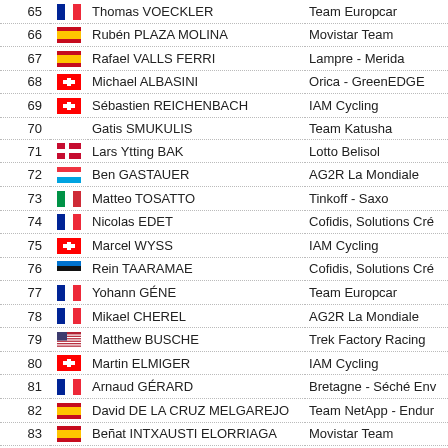| # | Flag | Name | Team |
| --- | --- | --- | --- |
| 65 | FRA | Thomas VOECKLER | Team Europcar |
| 66 | ESP | Rubén PLAZA MOLINA | Movistar Team |
| 67 | ESP | Rafael VALLS FERRI | Lampre - Merida |
| 68 | SUI | Michael ALBASINI | Orica - GreenEDGE |
| 69 | SUI | Sébastien REICHENBACH | IAM Cycling |
| 70 |  | Gatis SMUKULIS | Team Katusha |
| 71 | DEN | Lars Ytting BAK | Lotto Belisol |
| 72 | LUX | Ben GASTAUER | AG2R La Mondiale |
| 73 | ITA | Matteo TOSATTO | Tinkoff - Saxo |
| 74 | FRA | Nicolas EDET | Cofidis, Solutions Cré |
| 75 | SUI | Marcel WYSS | IAM Cycling |
| 76 | EST | Rein TAARAMAE | Cofidis, Solutions Cré |
| 77 | FRA | Yohann GÉNE | Team Europcar |
| 78 | FRA | Mikael CHEREL | AG2R La Mondiale |
| 79 | USA | Matthew BUSCHE | Trek Factory Racing |
| 80 | SUI | Martin ELMIGER | IAM Cycling |
| 81 | FRA | Arnaud GÉRARD | Bretagne - Séché Env |
| 82 | ESP | David DE LA CRUZ MELGAREJO | Team NetApp - Endur |
| 83 | ESP | Beñat INTXAUSTI ELORRIAGA | Movistar Team |
| 84 | FRA | Florian VACHON | Bretagne - Séché Env |
| 85 | ESP | Jesus HERRADA LOPEZ | Movistar Team |